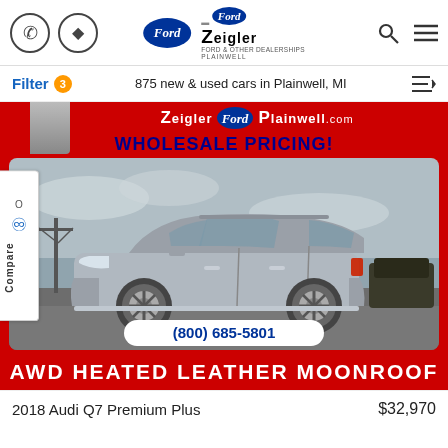Zeigler Ford Plainwell - header navigation with phone, navigation, Ford logo, Zeigler logo, search and menu icons
Filter 3 · 875 new & used cars in Plainwell, MI
[Figure (photo): Advertisement banner for Zeigler Ford Plainwell.com with WHOLESALE PRICING!, showing a silver 2018 Audi Q7 Premium Plus SUV on a dealership lot, with phone number (800) 685-5801 and AWD HEATED LEATHER MOONROOF banner]
2018 Audi Q7 Premium Plus    $32,970